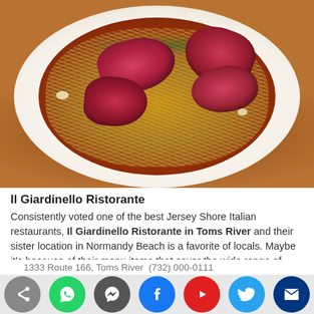[Figure (photo): A white bowl of pasta (linguine/spaghetti) with large shrimp in a red tomato-based sauce, garnished with chopped herbs and garlic. The dish is photographed from above on a white plate.]
Il Giardinello Ristorante
Consistently voted one of the best Jersey Shore Italian restaurants, Il Giardinello Ristorante in Toms River and their sister location in Normandy Beach is a favorite of locals. Maybe it’s because of their menu items that cover the wide range of tastes and flavors that Italy has to offer. However, we think it may just be because of their array of tasty pasta
1333 Route 166, Toms River  (732) 000-0111